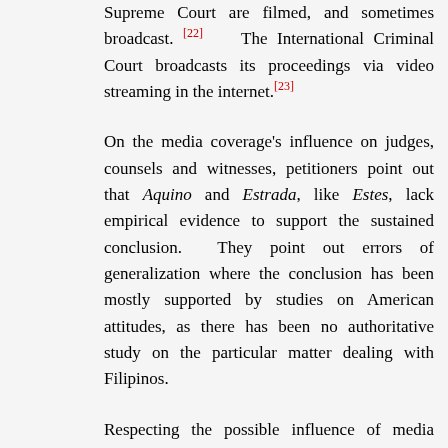Supreme Court are filmed, and sometimes broadcast. [22] The International Criminal Court broadcasts its proceedings via video streaming in the internet.[23]
On the media coverage's influence on judges, counsels and witnesses, petitioners point out that Aquino and Estrada, like Estes, lack empirical evidence to support the sustained conclusion. They point out errors of generalization where the conclusion has been mostly supported by studies on American attitudes, as there has been no authoritative study on the particular matter dealing with Filipinos.
Respecting the possible influence of media coverage on the impartiality of trial court judges, petitioners correctly explain that prejudicial publicity insofar as it undermines the right to a fair trial must pass the "totality of circumstances" test, applied in People v. Teehankee,